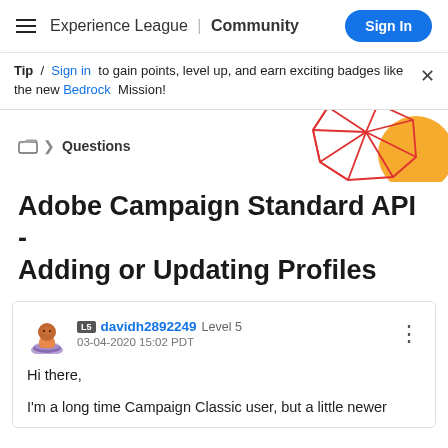Experience League | Community — Sign In
Tip / Sign in to gain points, level up, and earn exciting badges like the new Bedrock Mission!
[Figure (illustration): Decorative geometric red wireframe polyhedron with orange circle on the right side of the header area]
📁 > Questions
Adobe Campaign Standard API - Adding or Updating Profiles
davidh2892249  Level 5
03-04-2020 15:02 PDT
Hi there,

I'm a long time Campaign Classic user, but a little newer